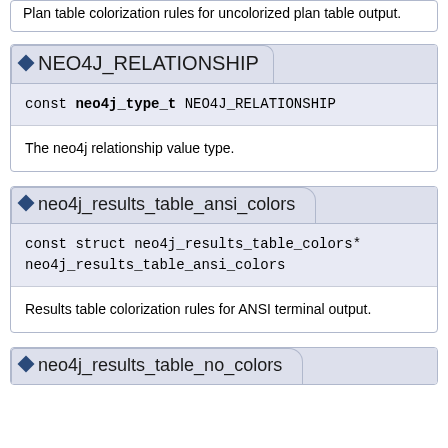Plan table colorization rules for uncolorized plan table output.
NEO4J_RELATIONSHIP
const neo4j_type_t NEO4J_RELATIONSHIP
The neo4j relationship value type.
neo4j_results_table_ansi_colors
const struct neo4j_results_table_colors* neo4j_results_table_ansi_colors
Results table colorization rules for ANSI terminal output.
neo4j_results_table_no_colors